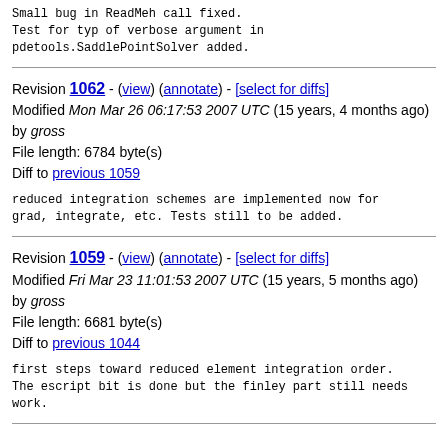Small bug in ReadMeh call fixed.
Test for typ of verbose argument in pdetools.SaddlePointSolver added.
Revision 1062 - (view) (annotate) - [select for diffs]
Modified Mon Mar 26 06:17:53 2007 UTC (15 years, 4 months ago) by gross
File length: 6784 byte(s)
Diff to previous 1059
reduced integration schemes are implemented now for grad, integrate, etc. Tests still to be added.
Revision 1059 - (view) (annotate) - [select for diffs]
Modified Fri Mar 23 11:01:53 2007 UTC (15 years, 5 months ago) by gross
File length: 6681 byte(s)
Diff to previous 1044
first steps toward reduced element integration order. The escript bit is done but the finley part still needs work.